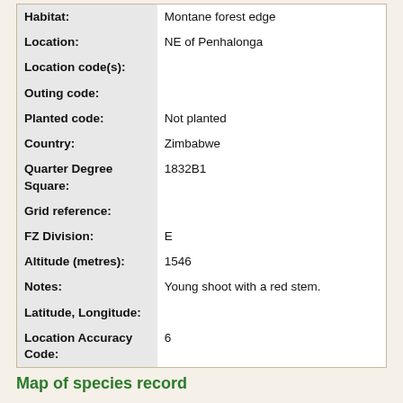| Field | Value |
| --- | --- |
| Habitat: | Montane forest edge |
| Location: | NE of Penhalonga |
| Location code(s): |  |
| Outing code: |  |
| Planted code: | Not planted |
| Country: | Zimbabwe |
| Quarter Degree Square: | 1832B1 |
| Grid reference: |  |
| FZ Division: | E |
| Altitude (metres): | 1546 |
| Notes: | Young shoot with a red stem. |
| Latitude, Longitude: |  |
| Location Accuracy Code: | 6 |
Map of species record